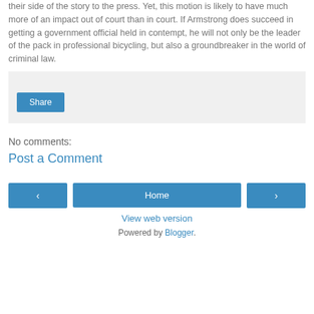their side of the story to the press. Yet, this motion is likely to have much more of an impact out of court than in court. If Armstrong does succeed in getting a government official held in contempt, he will not only be the leader of the pack in professional bicycling, but also a groundbreaker in the world of criminal law.
[Figure (screenshot): A light gray share box with a blue Share button]
No comments:
Post a Comment
[Figure (screenshot): Navigation row with left arrow button, Home button, and right arrow button, plus View web version link and Powered by Blogger footer]